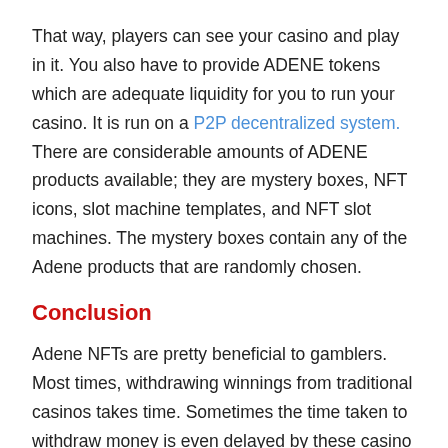That way, players can see your casino and play in it. You also have to provide ADENE tokens which are adequate liquidity for you to run your casino. It is run on a P2P decentralized system. There are considerable amounts of ADENE products available; they are mystery boxes, NFT icons, slot machine templates, and NFT slot machines. The mystery boxes contain any of the Adene products that are randomly chosen.
Conclusion
Adene NFTs are pretty beneficial to gamblers. Most times, withdrawing winnings from traditional casinos takes time. Sometimes the time taken to withdraw money is even delayed by these casino operators. However, with adene, players can attach their wallets